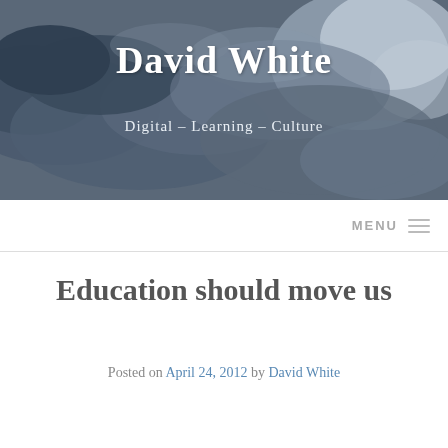[Figure (photo): Dark stormy cloudy sky banner image used as blog header background]
David White
Digital – Learning – Culture
MENU
Education should move us
Posted on April 24, 2012 by David White